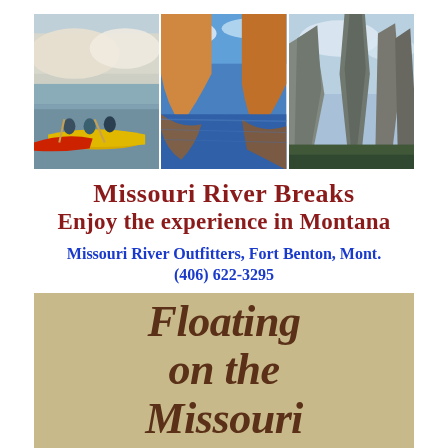[Figure (photo): Three side-by-side photos of Missouri River Breaks: left shows canoeists paddling red and yellow canoes with white chalk bluffs behind; center shows golden orange cliff formations reflected in calm water; right shows dramatic rock spires against cloudy sky.]
Missouri River Breaks
Enjoy the experience in Montana
Missouri River Outfitters, Fort Benton, Mont.
(406) 622-3295
[Figure (photo): Partial book cover with tan/beige background showing the title 'Floating on the Missouri' in large bold italic dark brown serif text, with a portion of the word 'Missouri' cut off at the bottom.]